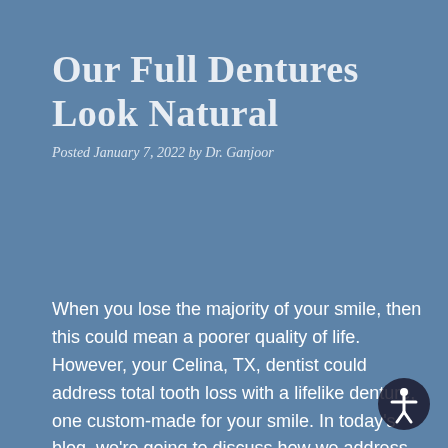Our Full Dentures Look Natural
Posted January 7, 2022 by Dr. Ganjoor
When you lose the majority of your smile, then this could mean a poorer quality of life. However, your Celina, TX, dentist could address total tooth loss with a lifelike denture, one custom-made for your smile. In today's blog, we're going to discuss how we address advanced cases of missing teeth.